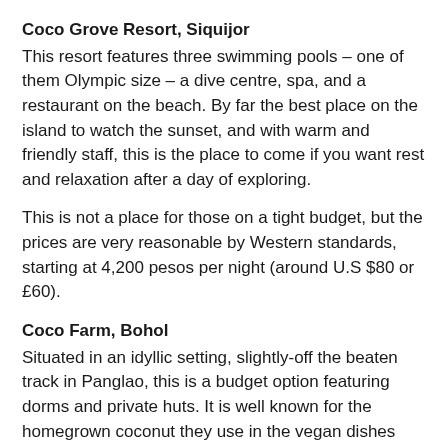Coco Grove Resort, Siquijor
This resort features three swimming pools – one of them Olympic size – a dive centre, spa, and a restaurant on the beach. By far the best place on the island to watch the sunset, and with warm and friendly staff, this is the place to come if you want rest and relaxation after a day of exploring.
This is not a place for those on a tight budget, but the prices are very reasonable by Western standards, starting at 4,200 pesos per night (around U.S $80 or £60).
Coco Farm, Bohol
Situated in an idyllic setting, slightly-off the beaten track in Panglao, this is a budget option featuring dorms and private huts. It is well known for the homegrown coconut they use in the vegan dishes served at their restaurant. Prices start at 400 Pesos ($7.50 or £6) for a dorm and 900 pesos ($17.16) for a private room.